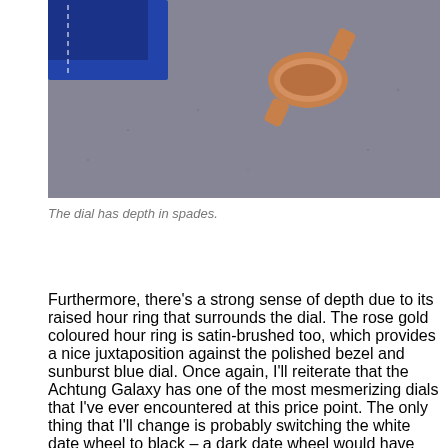[Figure (photo): Close-up photo of a watch with blue crocodile strap and rose gold case on a grey textured surface]
The dial has depth in spades.
Furthermore, there’s a strong sense of depth due to its raised hour ring that surrounds the dial. The rose gold coloured hour ring is satin-brushed too, which provides a nice juxtaposition against the polished bezel and sunburst blue dial. Once again, I’ll reiterate that the Achtung Galaxy has one of the most mesmerizing dials that I’ve ever encountered at this price point. The only thing that I’ll change is probably switching the white date wheel to black – a dark date wheel would have blended in better with the dark blue dial.
[Figure (photo): Close-up photo of a watch on a grey textured surface, partially cropped at bottom of page]